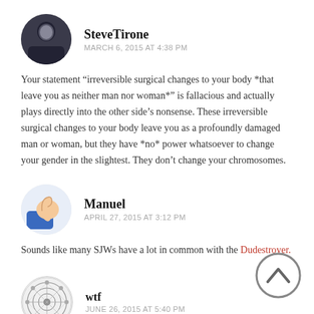[Figure (photo): Avatar of SteveTirone, a person photo in a dark image]
SteveTirone
MARCH 6, 2015 AT 4:38 PM
Your statement “irreversible surgical changes to your body *that leave you as neither man nor woman*” is fallacious and actually plays directly into the other side’s nonsense. These irreversible surgical changes to your body leave you as a profoundly damaged man or woman, but they have *no* power whatsoever to change your gender in the slightest. They don’t change your chromosomes.
[Figure (illustration): Thumbs up hand emoji avatar for Manuel]
Manuel
APRIL 27, 2015 AT 3:12 PM
Sounds like many SJWs have a lot in common with the Dudestroyer.
[Figure (illustration): Geometric pattern avatar for wtf]
wtf
JUNE 26, 2015 AT 5:40 PM
This dude is all about divide and conquer, just like our government. He promotes hate and mistrust between men and women, just like our government. Protip: If you hate, fear and distrust women, that might be why you can’t find a good...